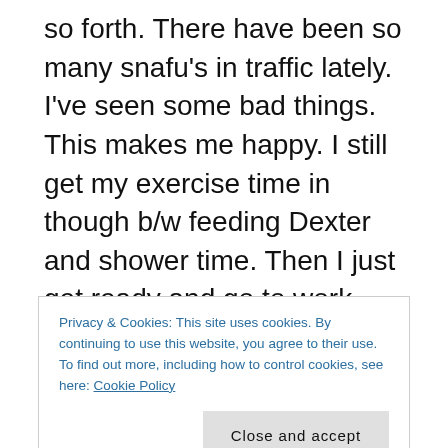so forth. There have been so many snafu's in traffic lately. I've seen some bad things. This makes me happy. I still get my exercise time in though b/w feeding Dexter and shower time. Then I just get ready and go to work and blog/vlog when I get home.
Wednesday. Well. So I began the new schedule today and Dexter was happy to see me. My boss said she didn't blame me for making the switch.
Privacy & Cookies: This site uses cookies. By continuing to use this website, you agree to their use.
To find out more, including how to control cookies, see here: Cookie Policy
covered. My goal is to make sure work time is at